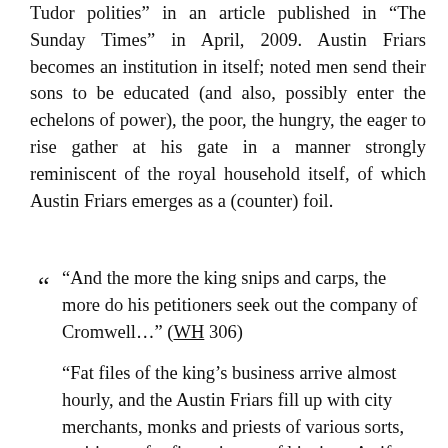Tudor polities" in an article published in "The Sunday Times" in April, 2009. Austin Friars becomes an institution in itself; noted men send their sons to be educated (and also, possibly enter the echelons of power), the poor, the hungry, the eager to rise gather at his gate in a manner strongly reminiscent of the royal household itself, of which Austin Friars emerges as a (counter) foil.
“And the more the king snips and carps, the more do his petitioners seek out the company of Cromwell…” (WH 306)
“Fat files of the king’s business arrive almost hourly, and the Austin Friars fill up with city merchants, monks and priests of various sorts, petitioners for five minutes of his time. As if they sense a shift of power, small groups